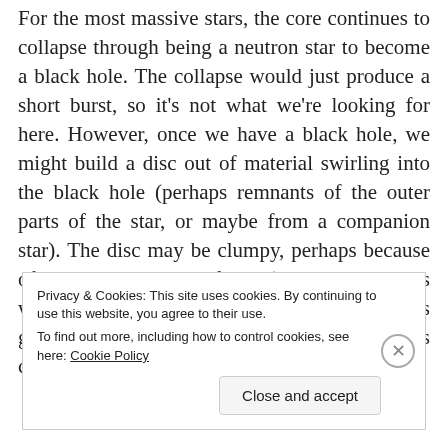For the most massive stars, the core continues to collapse through being a neutron star to become a black hole. The collapse would just produce a short burst, so it's not what we're looking for here. However, once we have a black hole, we might build a disc out of material swirling into the black hole (perhaps remnants of the outer parts of the star, or maybe from a companion star). The disc may be clumpy, perhaps because of eddies or magnetic fields (the usual suspects when astrophysicists don't know exactly what's going on), and they rapidly inspiralling blobs could emit a gravitational wave signal.
Privacy & Cookies: This site uses cookies. By continuing to use this website, you agree to their use.
To find out more, including how to control cookies, see here: Cookie Policy